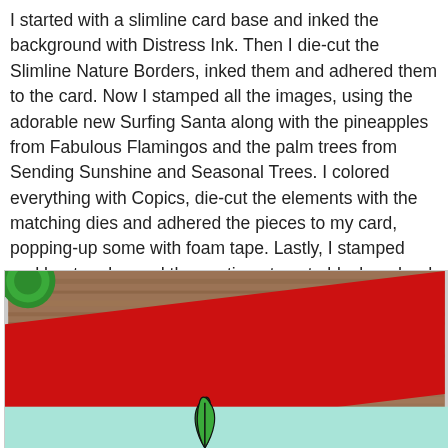I started with a slimline card base and inked the background with Distress Ink. Then I die-cut the Slimline Nature Borders, inked them and adhered them to the card. Now I stamped all the images, using the adorable new Surfing Santa along with the pineapples from Fabulous Flamingos and the palm trees from Sending Sunshine and Seasonal Trees. I colored everything with Copics, die-cut the elements with the matching dies and adhered the pieces to my card, popping-up some with foam tape. Lastly, I stamped and heat-embossed the sentiments onto black and red cardstock and adhered the strips.
[Figure (photo): A photo of a handmade slimline Christmas card. The background shows a wooden surface. A red cardstock strip is angled diagonally across the middle of the card. Below the red strip is a mint/teal cardstock base. A green ornament is partially visible in the top-left corner. A palm tree leaf element is visible at the bottom center of the teal card.]